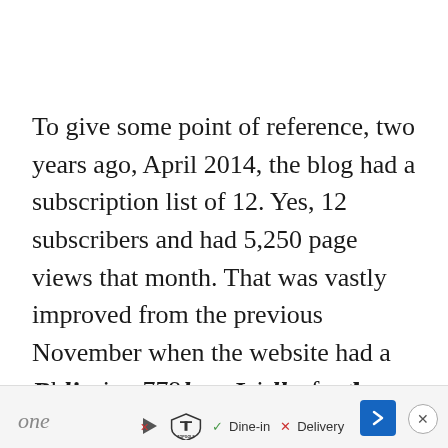To give some point of reference, two years ago, April 2014, the blog had a subscription list of 12. Yes, 12 subscribers and had 5,250 page views that month. That was vastly improved from the previous November when the website had a whopping 779 page views for the entire month.
Believe me when I tell you that no one
[Figure (other): Advertisement bar at bottom: Topgolf ad with play button icon, Topgolf logo, checkmark Dine-in, X Delivery, blue arrow navigation button, and close button]